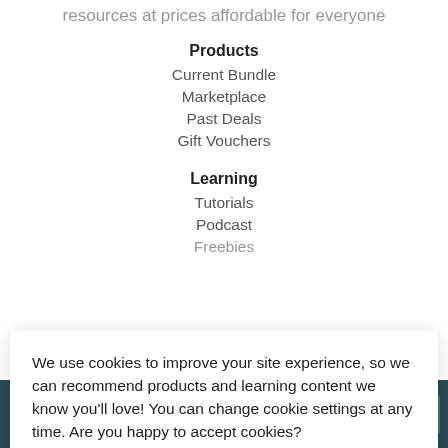resources at prices affordable for everyone
Products
Current Bundle
Marketplace
Past Deals
Gift Vouchers
Learning
Tutorials
Podcast
Freebies
We use cookies to improve your site experience, so we can recommend products and learning content we know you'll love! You can change cookie settings at any time. Are you happy to accept cookies?
Manage Cookie Preferences
Yes I'm Happy
TOP